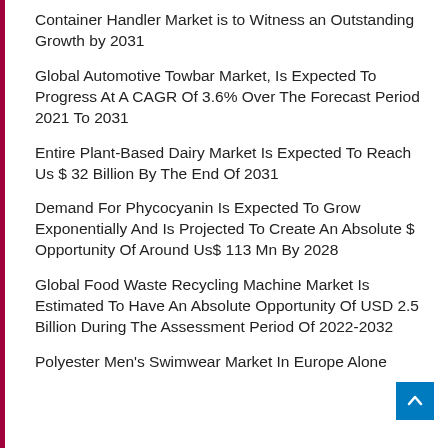Container Handler Market is to Witness an Outstanding Growth by 2031
Global Automotive Towbar Market, Is Expected To Progress At A CAGR Of 3.6% Over The Forecast Period 2021 To 2031
Entire Plant-Based Dairy Market Is Expected To Reach Us $ 32 Billion By The End Of 2031
Demand For Phycocyanin Is Expected To Grow Exponentially And Is Projected To Create An Absolute $ Opportunity Of Around Us$ 113 Mn By 2028
Global Food Waste Recycling Machine Market Is Estimated To Have An Absolute Opportunity Of USD 2.5 Billion During The Assessment Period Of 2022-2032
Polyester Men's Swimwear Market In Europe Alone